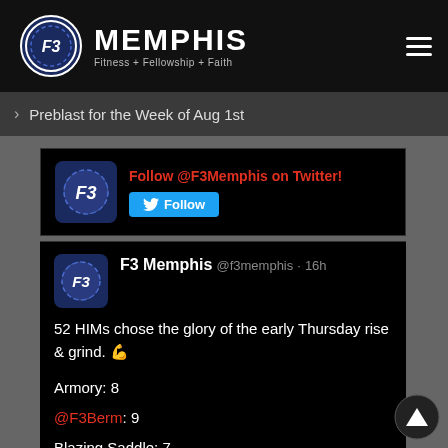[Figure (logo): F3 Memphis logo with circular F3 badge and text 'MEMPHIS Fitness + Fellowship + Faith' on dark nav bar with hamburger menu]
Preblast for the Week of Aug 1st
[Figure (screenshot): Twitter Follow widget: F3 logo avatar, 'Follow @F3Memphis on Twitter!' in red, blue Follow button]
F3 Memphis @f3memphis · 16h
52 HIMs chose the glory of the early Thursday rise & grind. 💪

Armory: 8
@F3Berm: 9
Blazing Saddle: 7
Catalog: 3
Lair: 11